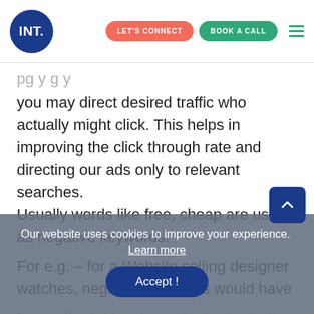INT. | LET'S CONNECT | BOOK A CALL
you may direct desired traffic who actually might click. This helps in improving the click through rate and directing our ads only to relevant searches. Usually words like free, cheap are used as negative keywords.
For e.g. – for a Website selling designer watches, negative keywords would have been affordable, cheap, budget, etc. It won't appear for any searches containing any of these
Our website uses cookies to improve your experience. Learn more
Accept !